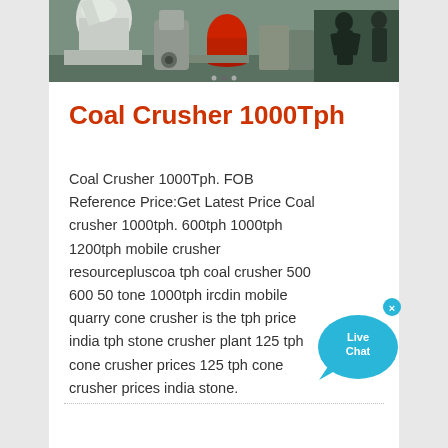[Figure (photo): Industrial coal crusher machinery equipment photo, showing large industrial machines with workers in the background]
Coal Crusher 1000Tph
Coal Crusher 1000Tph. FOB Reference Price:Get Latest Price Coal crusher 1000tph. 600tph 1000tph 1200tph mobile crusher resourcepluscoa tph coal crusher 500 600 50 tone 1000tph ircdin mobile quarry cone crusher is the tph price india tph stone crusher plant 125 tph cone crusher prices 125 tph cone crusher prices india stone.